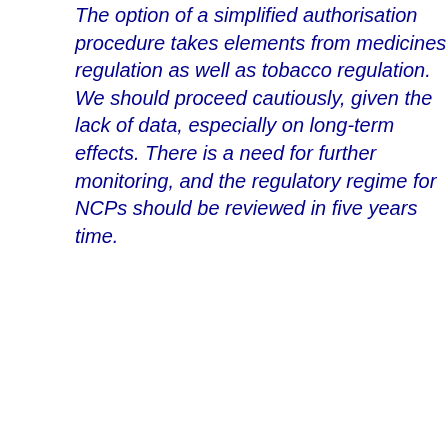The option of a simplified authorisation procedure takes elements from medicines regulation as well as tobacco regulation. We should proceed cautiously, given the lack of data, especially on long-term effects. There is a need for further monitoring, and the regulatory regime for NCPs should be reviewed in five years time.
when some... their involve... regulatory p... material evi... that cannot... consumer p... rapporteur ... lead in time... to get this ri... contrived re... amendment... poorly cons...
Poorly cons... drafted, with... no assessm... the rivals of...